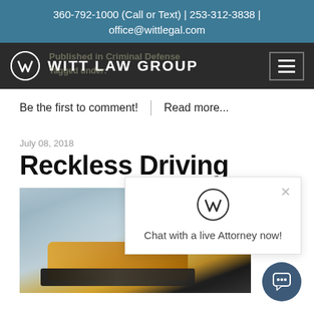360-792-1000 (Call or Text) | 253-312-3838 | office@wittlegal.com
[Figure (logo): Witt Law Group logo with circular W emblem and hamburger menu button on dark nav bar]
Published in Criminal Defense
Tagged under:
Be the first to comment! | Read more...
July 08, 2018
Reckless Driving
[Figure (photo): Yellow muscle car driving with smoke/blur effect, partially overlaid by chat popup]
Chat with a live Attorney now!